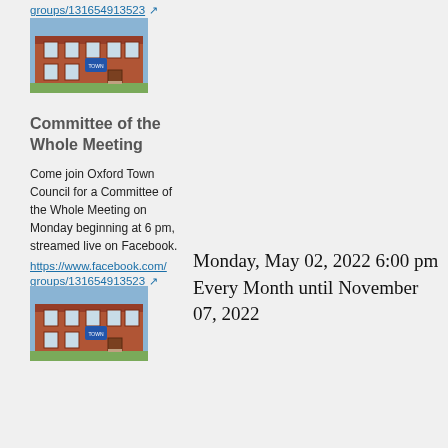https://www.facebook.com/groups/131654913523
[Figure (photo): Two-story red brick building with blue sign, summer photo]
Committee of the Whole Meeting
Come join Oxford Town Council for a Committee of the Whole Meeting on Monday beginning at 6 pm, streamed live on Facebook.
https://www.facebook.com/groups/131654913523
[Figure (photo): Two-story red brick building with blue sign, summer photo]
Monday, May 02, 2022 6:00 pm
Every Month until November 07, 2022